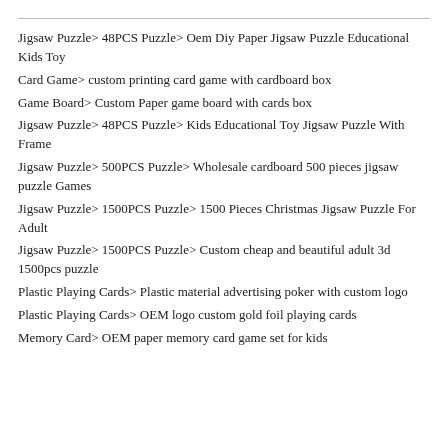Jigsaw Puzzle> 48PCS Puzzle> Oem Diy Paper Jigsaw Puzzle Educational Kids Toy
Card Game> custom printing card game with cardboard box
Game Board> Custom Paper game board with cards box
Jigsaw Puzzle> 48PCS Puzzle> Kids Educational Toy Jigsaw Puzzle With Frame
Jigsaw Puzzle> 500PCS Puzzle> Wholesale cardboard 500 pieces jigsaw puzzle Games
Jigsaw Puzzle> 1500PCS Puzzle> 1500 Pieces Christmas Jigsaw Puzzle For Adult
Jigsaw Puzzle> 1500PCS Puzzle> Custom cheap and beautiful adult 3d 1500pcs puzzle
Plastic Playing Cards> Plastic material advertising poker with custom logo
Plastic Playing Cards> OEM logo custom gold foil playing cards
Memory Card> OEM paper memory card game set for kids